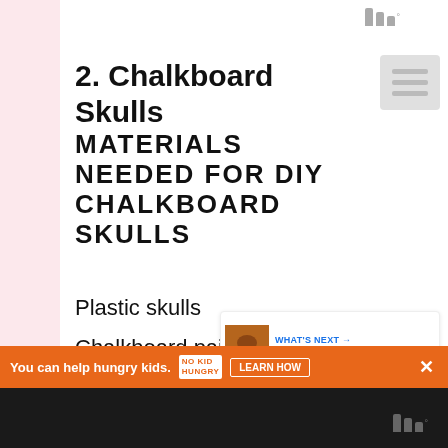2. Chalkboard Skulls
MATERIALS NEEDED FOR DIY CHALKBOARD SKULLS
Plastic skulls
Chalkboard paint
Candlesticks
Hot glue
Chalk
You can help hungry kids. NO KID HUNGRY LEARN HOW